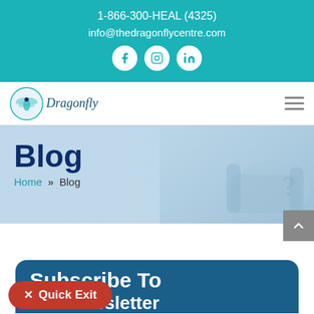1-866-300-HEAL (4325)
info@thedragonflycentre.com
[Figure (logo): Dragonfly Centre logo with dragonfly icon and cursive text]
Blog
Home » Blog
[Figure (photo): Blurred couch/armchair in background of hero banner]
✕  Quick Exit
Subscribe To Our Newsletter